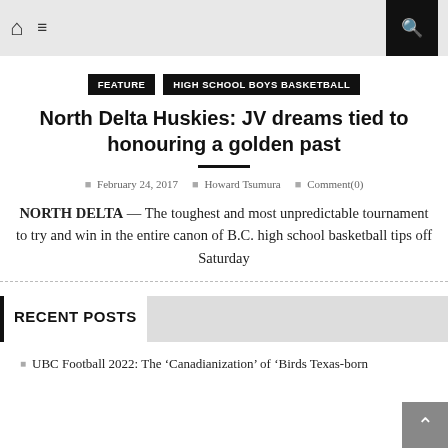Home | Menu | Search
FEATURE   HIGH SCHOOL BOYS BASKETBALL
North Delta Huskies: JV dreams tied to honouring a golden past
February 24, 2017   Howard Tsumura   Comment(0)
NORTH DELTA — The toughest and most unpredictable tournament to try and win in the entire canon of B.C. high school basketball tips off Saturday
RECENT POSTS
UBC Football 2022: The 'Canadianization' of 'Birds Texas-born